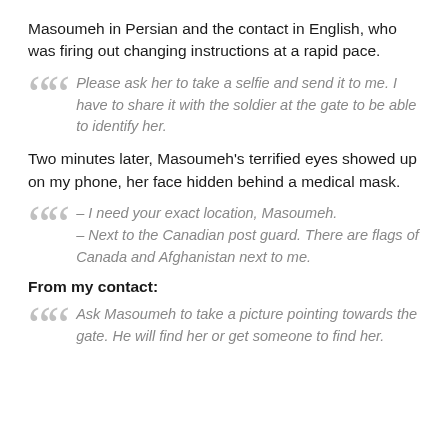Masoumeh in Persian and the contact in English, who was firing out changing instructions at a rapid pace.
Please ask her to take a selfie and send it to me. I have to share it with the soldier at the gate to be able to identify her.
Two minutes later, Masoumeh’s terrified eyes showed up on my phone, her face hidden behind a medical mask.
– I need your exact location, Masoumeh.
– Next to the Canadian post guard. There are flags of Canada and Afghanistan next to me.
From my contact:
Ask Masoumeh to take a picture pointing towards the gate. He will find her or get someone to find her.